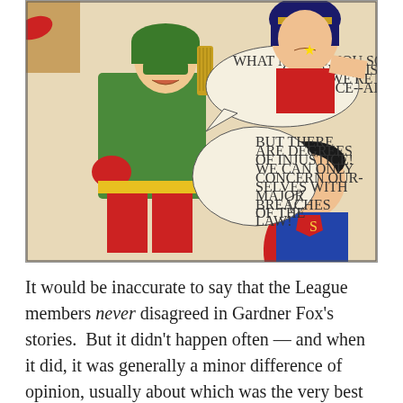[Figure (illustration): A vintage comic book panel showing Green Arrow, Wonder Woman, and Superman in discussion. Speech bubbles read: 'WHAT MAKES YOU SO ALMIGHTY CERTAIN THIS ISN'T IMPORTANT?! LOOK, WE'RE SWORN TO BATTLE INJUSTICE--ALL INJUSTICE!' and 'BUT THERE ARE DEGREES OF INJUSTICE! WE CAN ONLY CONCERN OURSELVES WITH MAJOR BREACHES OF THE LAW!']
It would be inaccurate to say that the League members never disagreed in Gardner Fox's stories.  But it didn't happen often — and when it did, it was generally a minor difference of opinion, usually about which was the very best strategy or tactics to use in addressing a